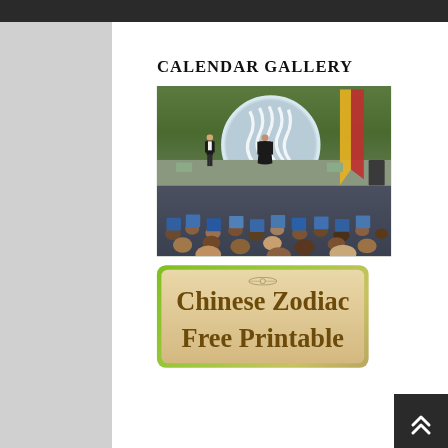CALENDAR GALLERY
[Figure (photo): Outdoor theater performance with two actors on stage in black costumes, large circular white backdrop, audience seated in folding chairs watching the show, trees and evening sky in background]
[Figure (illustration): Chinese Zodiac Free Printable calendar card with green and tan border design, decorative background]